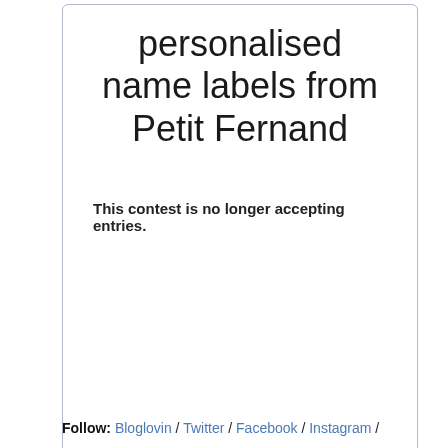personalised name labels from Petit Fernand
This contest is no longer accepting entries.
powered by Rafflecopter
Follow: Bloglovin / Twitter / Facebook / Instagram /